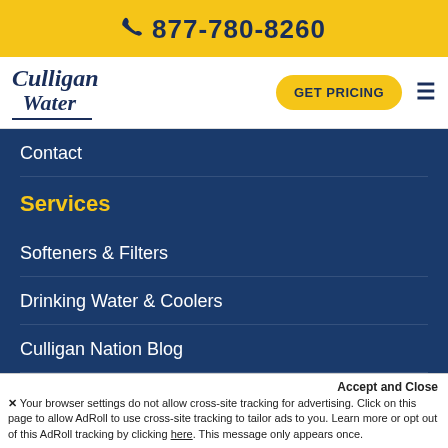877-780-8260
[Figure (logo): Culligan Water logo with GET PRICING button and hamburger menu]
Contact
Services
Softeners & Filters
Drinking Water & Coolers
Culligan Nation Blog
Contact
Contact Us
Accept and Close
×Your browser settings do not allow cross-site tracking for advertising. Click on this page to allow AdRoll to use cross-site tracking to tailor ads to you. Learn more or opt out of this AdRoll tracking by clicking here. This message only appears once.